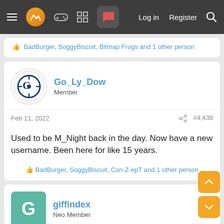Navigation bar with menu, logo, game controller, grid, chat icons, Log in, Register, Search
BadBurger, SoggyBiscuit, Bitmap Frogs and 1 other person
Go_Ly_Dow
Member
Feb 11, 2022  #4,438
Used to be M_Night back in the day. Now have a new username. Been here for like 15 years.
BadBurger, SoggyBiscuit, Con-Z-epT and 1 other person
giffindex
Neo Member